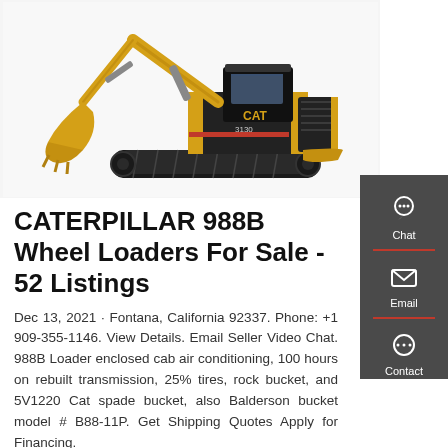[Figure (photo): Yellow and black Caterpillar 313D excavator shown in profile view against white background, with boom arm and bucket extended to the left, tracked undercarriage visible.]
CATERPILLAR 988B Wheel Loaders For Sale - 52 Listings
Dec 13, 2021 · Fontana, California 92337. Phone: +1 909-355-1146. View Details. Email Seller Video Chat. 988B Loader enclosed cab air conditioning, 100 hours on rebuilt transmission, 25% tires, rock bucket, and 5V1220 Cat spade bucket, also Balderson bucket model # B88-11P. Get Shipping Quotes Apply for Financing.